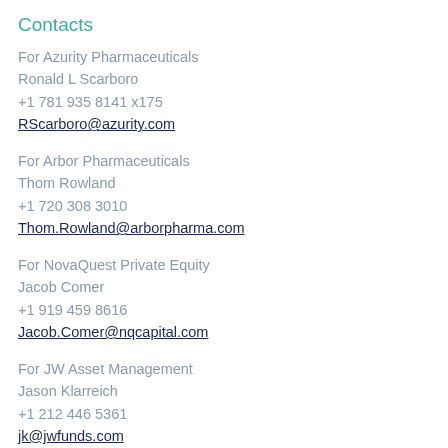Contacts
For Azurity Pharmaceuticals
Ronald L Scarboro
+1 781 935 8141 x175
RScarboro@azurity.com
For Arbor Pharmaceuticals
Thom Rowland
+1 720 308 3010
Thom.Rowland@arborpharma.com
For NovaQuest Private Equity
Jacob Comer
+1 919 459 8616
Jacob.Comer@nqcapital.com
For JW Asset Management
Jason Klarreich
+1 212 446 5361
jk@jwfunds.com